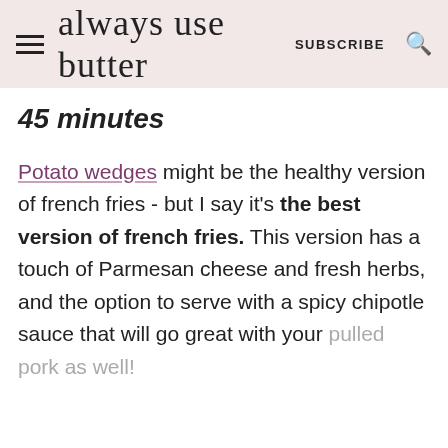always use butter | SUBSCRIBE
45 minutes
Potato wedges might be the healthy version of french fries - but I say it's the best version of french fries. This version has a touch of Parmesan cheese and fresh herbs, and the option to serve with a spicy chipotle sauce that will go great with your pulled pork as well!